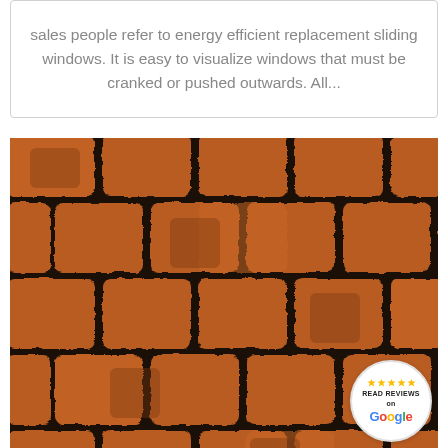sales people refer to energy efficient replacement sliding windows. It is easy to visualize windows that must be cranked or pushed outwards. All...
[Figure (photo): Close-up photo of brown/rust-colored architectural asphalt shingles arranged in overlapping rows. A circular Google Reviews badge is overlaid in the bottom-right corner showing stars and 'READ REVIEWS on Google'.]